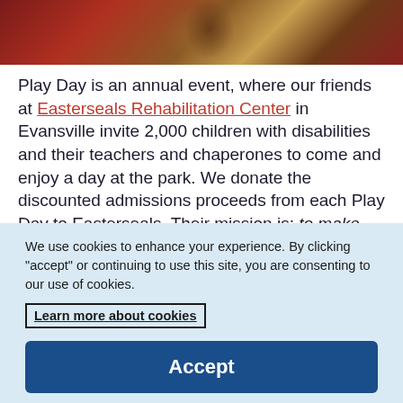[Figure (photo): A photo strip at the top of the page showing what appears to be a person at a theme park ride, with red and gold colors visible.]
Play Day is an annual event, where our friends at Easterseals Rehabilitation Center in Evansville invite 2,000 children with disabilities and their teachers and chaperones to come and enjoy a day at the park. We donate the discounted admissions proceeds from each Play Day to Easterseals. Their mission is: to make profound, positive
We use cookies to enhance your experience. By clicking "accept" or continuing to use this site, you are consenting to our use of cookies.
Learn more about cookies
Accept